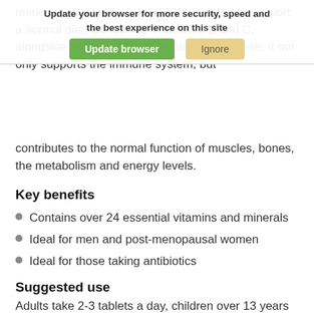[Figure (screenshot): Browser update notification banner overlaid on page content, with 'Update browser' green button and 'Ignore' yellow button. Banner text: 'Update your browser for more security, speed and the best experience on this site']
contributes to the normal function of muscles, bones, the metabolism and energy levels.
Key benefits
Contains over 24 essential vitamins and minerals
Ideal for men and post-menopausal women
Ideal for those taking antibiotics
Suggested use
Adults take 2-3 tablets a day, children over 13 years 1 a day.
Please always read the product label prior to use or consumption
We take the upmost care to ensure that the information on our website is correct.